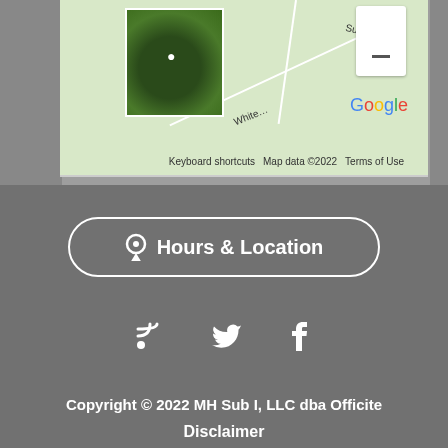[Figure (map): Google Maps screenshot showing a location with satellite thumbnail, roads labeled Summerfield and White, Google logo, and map controls. Footer shows 'Keyboard shortcuts', 'Map data ©2022', 'Terms of Use'.]
⚲ Hours & Location
Copyright © 2022 MH Sub I, LLC dba Officite
Disclaimer
Patient Privacy
Site Map